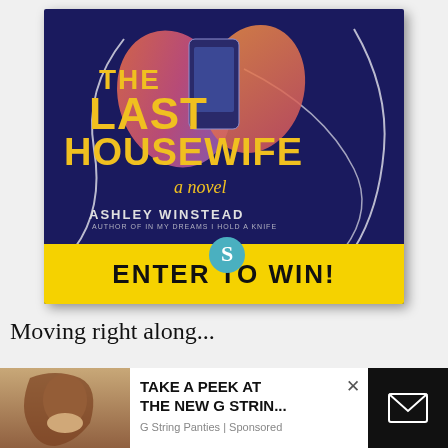[Figure (illustration): Book cover for 'The Last Housewife' by Ashley Winstead — dark navy background with yellow title text, hands holding phone at top, decorative white curved lines, Scribd spiral logo, yellow 'ENTER TO WIN!' banner at bottom.]
Moving right along...
[Figure (photo): Photo of smiling woman with long brown hair.]
TAKE A PEEK AT THE NEW G STRIN...
G String Panties | Sponsored
[Figure (other): Black rectangle with white envelope/mail icon.]